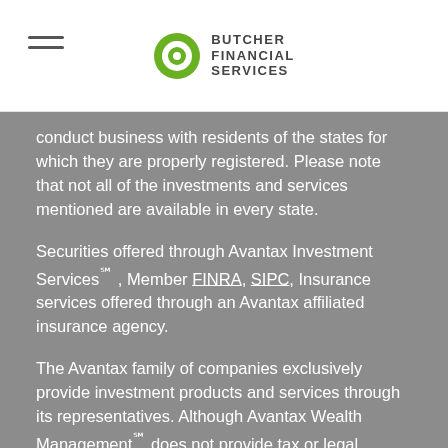Butcher Financial Services
conduct business with residents of the states for which they are properly registered. Please note that not all of the investments and services mentioned are available in every state.
Securities offered through Avantax Investment Services℠ , Member FINRA, SIPC, Insurance services offered through an Avantax affiliated insurance agency.
The Avantax family of companies exclusively provide investment products and services through its representatives. Although Avantax Wealth Management℠ does not provide tax or legal advice, or supervise tax, accounting or legal services, Avantax representatives may offer these services through their independent outside business.